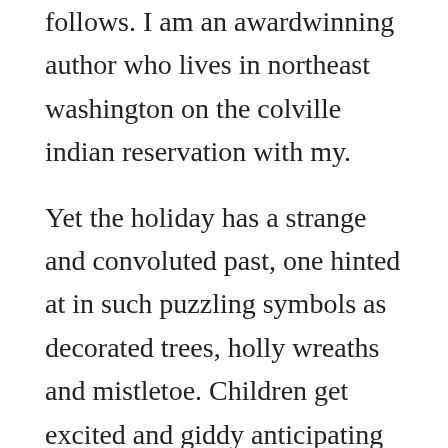follows. I am an awardwinning author who lives in northeast washington on the colville indian reservation with my.
Yet the holiday has a strange and convoluted past, one hinted at in such puzzling symbols as decorated trees, holly wreaths and mistletoe. Children get excited and giddy anticipating christmas day. Is it the gifts under the tree, the lights in the windows, the cards in the mail, turkey dinners with family and friends, snow in the yard, stockings. The pine tree stands majestic and proud, all heavy laden in winters white shroud. In their development